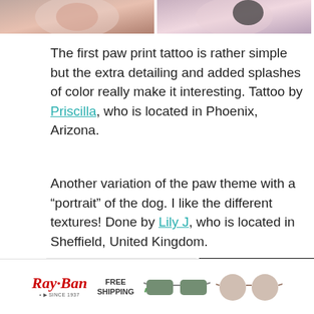[Figure (photo): Two cropped tattoo photos at the top of the page showing colorful paw print tattoos]
The first paw print tattoo is rather simple but the extra detailing and added splashes of color really make it interesting. Tattoo by Priscilla, who is located in Phoenix, Arizona.
Another variation of the paw theme with a “portrait” of the dog. I like the different textures! Done by Lily J, who is located in Sheffield, United Kingdom.
[Figure (photo): Two tattoo photos showing paw print tattoos — left is a detailed line drawing of a paw, right is a dark realistic paw print tattoo]
[Figure (other): Ray-Ban advertisement banner with logo, FREE SHIPPING text, and two pairs of sunglasses]